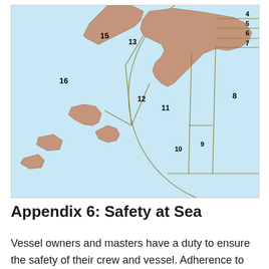[Figure (map): Nautical/fishing zone map showing numbered regions (4–16) around Newfoundland and Atlantic Canada. Water areas shown in light blue, land masses in tan/brown. Numbered zones separated by gold/olive boundary lines.]
Appendix 6: Safety at Sea
Vessel owners and masters have a duty to ensure the safety of their crew and vessel. Adherence to safety regulations and good practices by owners, masters and crew of fishing vessels will help save lives, protect the vessel from damage and protect the